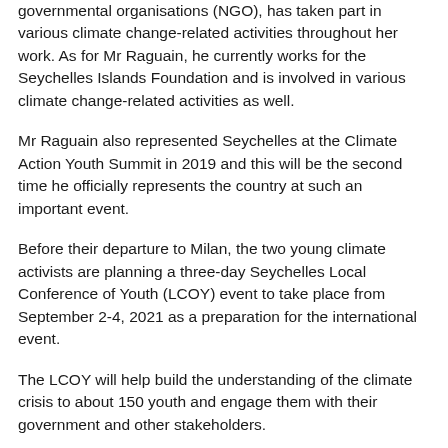governmental organisations (NGO), has taken part in various climate change-related activities throughout her work. As for Mr Raguain, he currently works for the Seychelles Islands Foundation and is involved in various climate change-related activities as well.
Mr Raguain also represented Seychelles at the Climate Action Youth Summit in 2019 and this will be the second time he officially represents the country at such an important event.
Before their departure to Milan, the two young climate activists are planning a three-day Seychelles Local Conference of Youth (LCOY) event to take place from September 2-4, 2021 as a preparation for the international event.
The LCOY will help build the understanding of the climate crisis to about 150 youth and engage them with their government and other stakeholders.